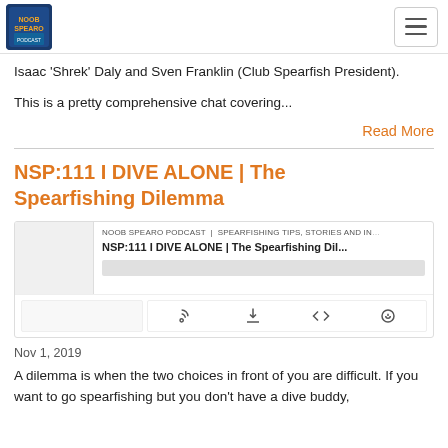Noob Spearo Podcast logo and navigation
Isaac 'Shrek' Daly and Sven Franklin (Club Spearfish President).
This is a pretty comprehensive chat covering...
Read More
NSP:111 I DIVE ALONE | The Spearfishing Dilemma
[Figure (screenshot): Podcast embed player for NSP:111 I DIVE ALONE | The Spearfishing Dil... from NOOB SPEARO PODCAST | SPEARFISHING TIPS, STORIES AND IN... with playback controls including RSS, download, embed, and share icons]
Nov 1, 2019
A dilemma is when the two choices in front of you are difficult. If you want to go spearfishing but you don't have a dive buddy,